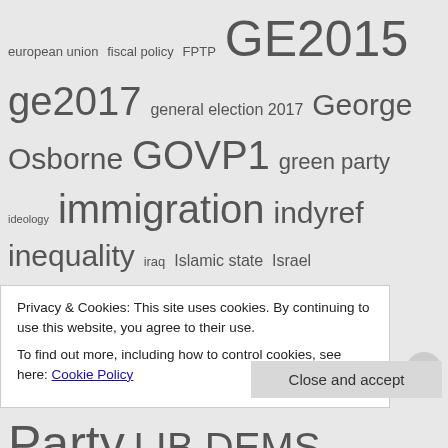[Figure (other): Tag cloud of political topics including: european union, fiscal policy, FPTP, GE2015, ge2017, general election 2017, George Osborne, GOVP1, green party, ideology, immigration, indyref, inequality, iraq, Islamic state, Israel, jeremy corbyn, Labour, Labour Party, LIB DEMS, Liberal Democrats, LIberalism, macroeconomics, manifesto, NHS, Nick Clegg, nicola sturgeon, Nigel Farage, opinion polls, Parliament, pluralism, POLITICS, poverty, Privatisation, referendum, scotdecides, Scotland, Scottish independence, SNP, tax, terrorism, Theresa May, UK general election, UK general election 2015]
Privacy & Cookies: This site uses cookies. By continuing to use this website, you agree to their use.
To find out more, including how to control cookies, see here: Cookie Policy